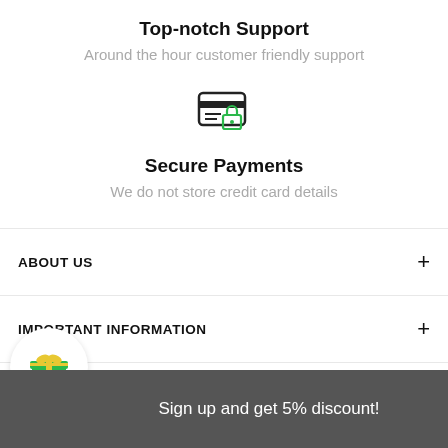Top-notch Support
Around the hour customer friendly support
[Figure (illustration): Icon of a credit card with a green padlock overlaid on it]
Secure Payments
We do not store credit card details
ABOUT US
IMPORTANT INFORMATION
[Figure (illustration): Gift box icon with green box and yellow ribbon, inside a white circle]
Sign up and get 5% discount!